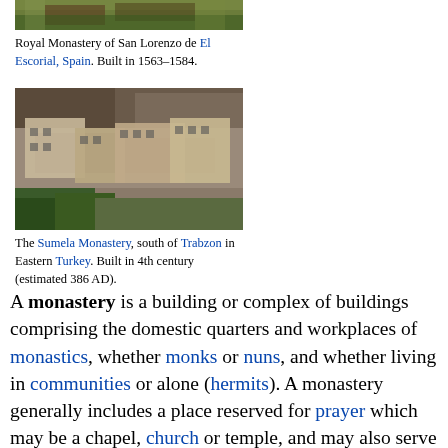[Figure (photo): Top portion of a photo showing the Royal Monastery of San Lorenzo de El Escorial, Spain, with trees and buildings visible.]
Royal Monastery of San Lorenzo de El Escorial, Spain. Built in 1563–1584.
[Figure (photo): The Sumela Monastery built into a cliff face, south of Trabzon in Eastern Turkey. Built in 4th century (estimated 386 AD).]
The Sumela Monastery, south of Trabzon in Eastern Turkey. Built in 4th century (estimated 386 AD).
A monastery is a building or complex of buildings comprising the domestic quarters and workplaces of monastics, whether monks or nuns, and whether living in communities or alone (hermits). A monastery generally includes a place reserved for prayer which may be a chapel, church or temple, and may also serve as an oratory.